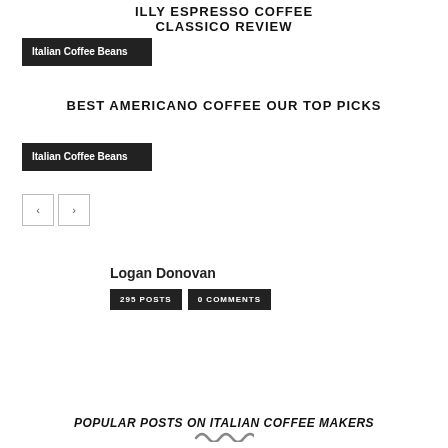ILLY ESPRESSO COFFEE CLASSICO REVIEW
[Figure (other): Italian Coffee Beans badge/thumbnail]
BEST AMERICANO COFFEE OUR TOP PICKS
[Figure (other): Italian Coffee Beans badge/thumbnail]
[Figure (other): Navigation buttons: previous (‹) and next (›)]
Logan Donovan
295 POSTS   0 COMMENTS
POPULAR POSTS ON ITALIAN COFFEE MAKERS